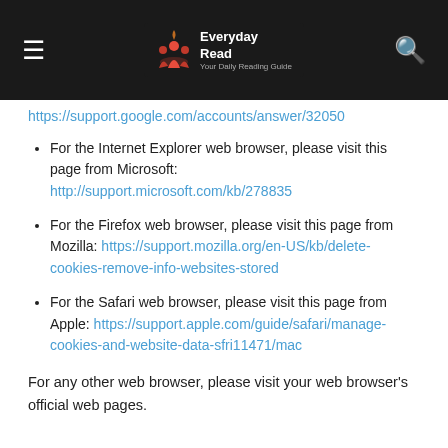Everyday Read — Your Daily Reading Guide
https://support.google.com/accounts/answer/32050
For the Internet Explorer web browser, please visit this page from Microsoft: http://support.microsoft.com/kb/278835
For the Firefox web browser, please visit this page from Mozilla: https://support.mozilla.org/en-US/kb/delete-cookies-remove-info-websites-stored
For the Safari web browser, please visit this page from Apple: https://support.apple.com/guide/safari/manage-cookies-and-website-data-sfri11471/mac
For any other web browser, please visit your web browser's official web pages.